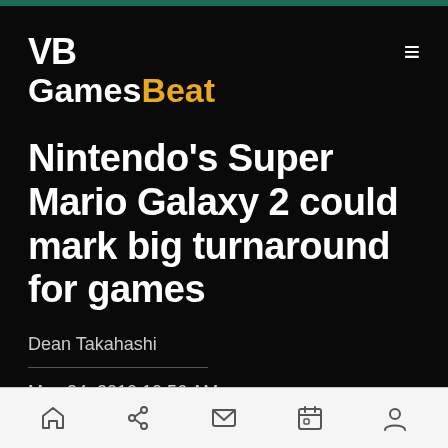VB GamesBeat
Nintendo's Super Mario Galaxy 2 could mark big turnaround for games
Dean Takahashi
May 24, 2010 10:56 AM
[navigation icons: home, share, mail, calendar, profile]